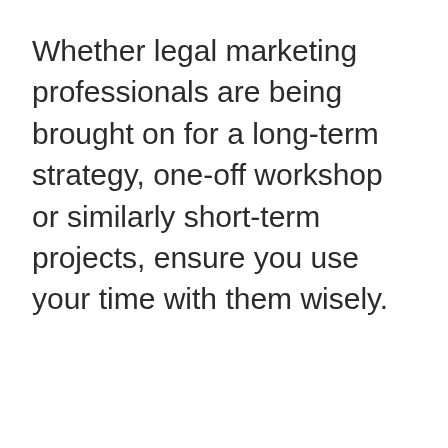Whether legal marketing professionals are being brought on for a long-term strategy, one-off workshop or similarly short-term projects, ensure you use your time with them wisely.